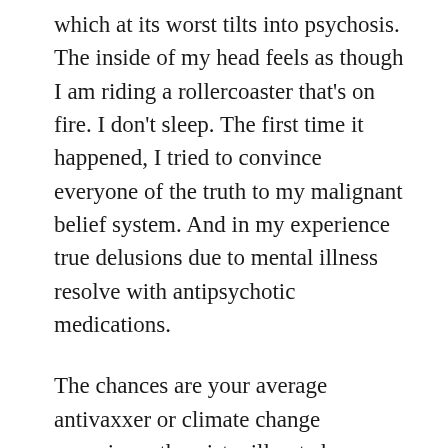which at its worst tilts into psychosis. The inside of my head feels as though I am riding a rollercoaster that's on fire. I don't sleep. The first time it happened, I tried to convince everyone of the truth to my malignant belief system. And in my experience true delusions due to mental illness resolve with antipsychotic medications.
The chances are your average antivaxxer or climate change conspiracy theorist will not change their beliefs if you dose them with antipsychotic medications.
So, If you read the post above and shrugged your shoulders or like several of my facebook